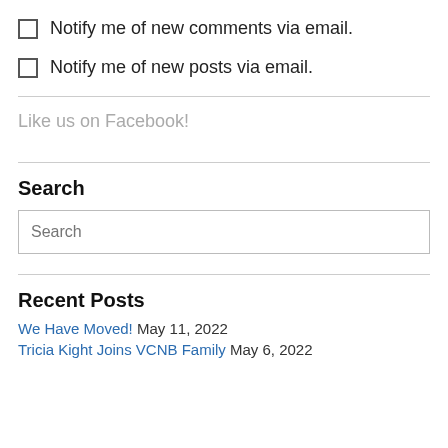Notify me of new comments via email.
Notify me of new posts via email.
Like us on Facebook!
Search
Search
Recent Posts
We Have Moved! May 11, 2022
Tricia Kight Joins VCNB Family May 6, 2022